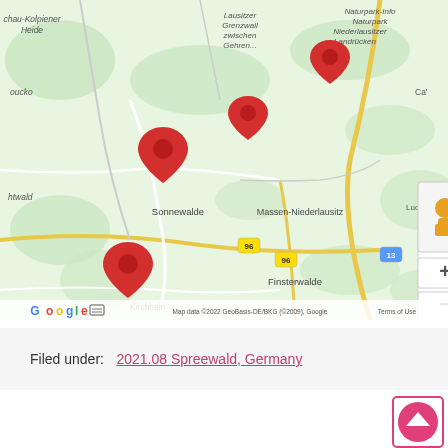[Figure (map): Google Maps screenshot showing a region in Germany (Niederlausitz area) with four red location markers near Sonnewalde, Finsterwalde, and surrounding areas. Map labels include: chau-Kolpiener Heide, Lausitzer Grenzwall zwischen Gehren..., Naturpark-Info Naturpark Niederlausitzer Landrücken, oucko, htwald, Sonnewalde, Massen-Niederlausitz, Doberlug, Kirchhain, Finsterwalde, Ca', Luckeitazal, road markers 96 and 13. Controls include pegman icon, plus/minus zoom buttons. Footer: Map data ©2022 GeoBasis-DE/BKG (©2009), Google | Terms of Use. Google logo bottom left.]
Filed under:  2021.08 Spreewald, Germany